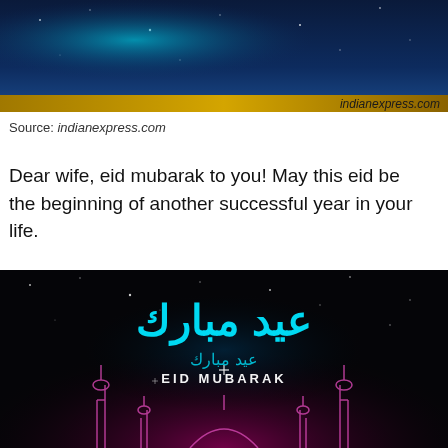[Figure (photo): Top portion of an Eid Mubarak greeting card image with a dark blue starry background and gold strip at bottom. Shows 'indianexpress.com' watermark in bottom right corner.]
Source: indianexpress.com
Dear wife, eid mubarak to you! May this eid be the beginning of another successful year in your life.
[Figure (photo): Eid Mubarak greeting card image with a dark/black background showing glowing cyan Arabic calligraphy text, Arabic text 'عيد مبارك' and 'EID MUBARAK' text in white, with glowing pink/purple mosque minarets silhouette at the bottom and sparkle star effects throughout.]